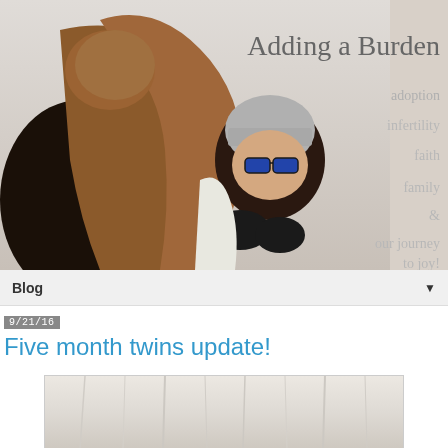[Figure (photo): Blog header banner with photo of two people hugging outdoors in winter, one with long hair and the other wearing a gray beanie and blue glasses. Text overlay reads 'Adding a Burden' with subtitle keywords: adoption, infertility, faith, family & our journey to joy!]
Blog ▼
9/21/16
Five month twins update!
[Figure (photo): Partial photo showing light-colored fabric or curtains, bottom of post image]